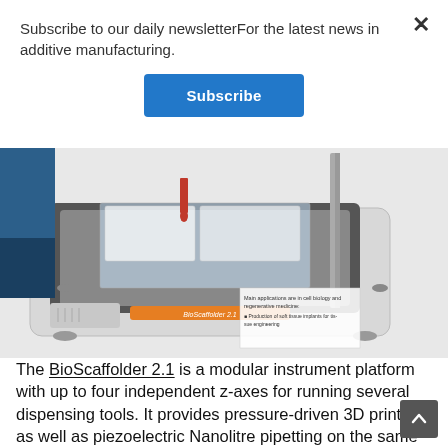Subscribe to our daily newsletterFor the latest news in additive manufacturing.
Subscribe
[Figure (photo): BioScaffolder 2.1 modular instrument platform — a laboratory 3D bioprinting device with dispensing tools visible, shown from above at an angle. White/silver housing with an orange label. Inset text reads: Main applications are in cell biology and regenerative medicine: Production of soft tissue implants for tissue engineering.]
The BioScaffolder 2.1 is a modular instrument platform with up to four independent z-axes for running several dispensing tools. It provides pressure-driven 3D printing as well as piezoelectric Nanolitre pipetting on the same instrument, which means that it is able to 3D print a scaffold and automatically apply the